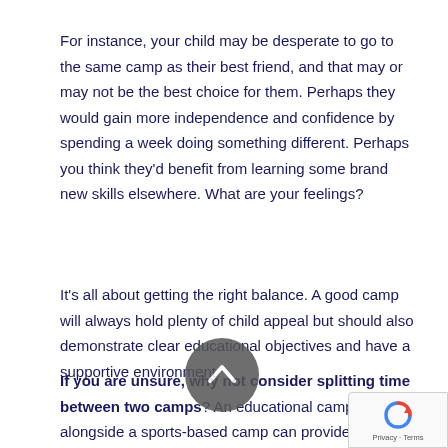For instance, your child may be desperate to go to the same camp as their best friend, and that may or may not be the best choice for them. Perhaps they would gain more independence and confidence by spending a week doing something different. Perhaps you think they'd benefit from learning some brand new skills elsewhere. What are your feelings?
It's all about getting the right balance. A good camp will always hold plenty of child appeal but should also demonstrate clear educational objectives and have a supportive environment.
If you are unsure, why not consider splitting time between two camps? An educational camp alongside a sports-based camp can provide a good balance and keep both you and your child happy.